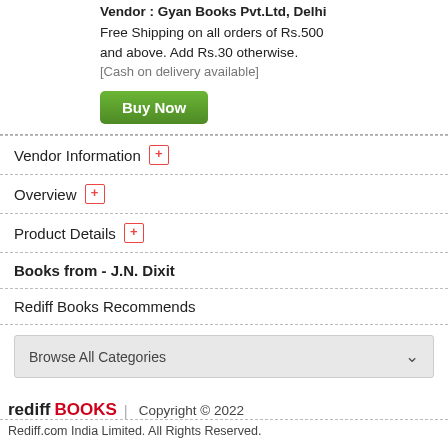Vendor : Gyan Books Pvt.Ltd, Delhi
Free Shipping on all orders of Rs.500 and above. Add Rs.30 otherwise.
[Cash on delivery available]
Buy Now
Vendor Information +
Overview +
Product Details +
Books from - J.N. Dixit
Rediff Books Recommends
Browse All Categories
rediff BOOKS  |  Copyright © 2022
Rediff.com India Limited. All Rights Reserved.